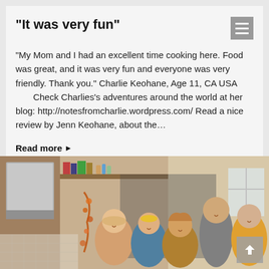“It was very fun”
“My Mom and I had an excellent time cooking here. Food was great, and it was very fun and everyone was very friendly. Thank you.” Charlie Keohane, Age 11, CA USA        Check Charlies’s adventures around the world at her blog: http://notesfromcharlie.wordpress.com/  Read a nice review by Jenn Keohane, about the…
Read more ▶
[Figure (photo): Group photo of people in a kitchen setting, including several women and a man, some wearing aprons, with kitchen shelving and equipment visible in the background.]